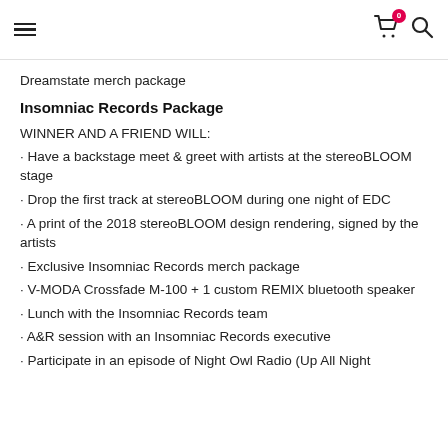≡  🛒 0  🔍
Dreamstate merch package
Insomniac Records Package
WINNER AND A FRIEND WILL:
· Have a backstage meet & greet with artists at the stereoBLOOM stage
· Drop the first track at stereoBLOOM during one night of EDC
· A print of the 2018 stereoBLOOM design rendering, signed by the artists
· Exclusive Insomniac Records merch package
· V-MODA Crossfade M-100 + 1 custom REMIX bluetooth speaker
· Lunch with the Insomniac Records team
· A&R session with an Insomniac Records executive
· Participate in an episode of Night Owl Radio (Up All Night